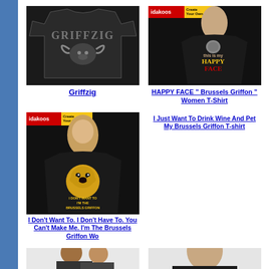[Figure (photo): Black t-shirt with Griffzig text and bull/longhorn graphic on dark background]
Griffzig
[Figure (photo): Woman wearing black t-shirt with HAPPY FACE Brussels Griffon design, idakoos badge at top]
HAPPY FACE " Brussels Griffon " Women T-Shirt
[Figure (photo): Woman wearing black t-shirt with dog emoji face graphic, idakoos Create Your Own badge, I Don't Want To text]
I Don't Want To. I Don't Have To. You Can't Make Me. I'm The Brussels Griffon Wo
I Just Want To Drink Wine And Pet My Brussels Griffon T-shirt
[Figure (photo): Partial image of woman wearing t-shirt]
[Figure (photo): Partial image of t-shirt product at bottom right]